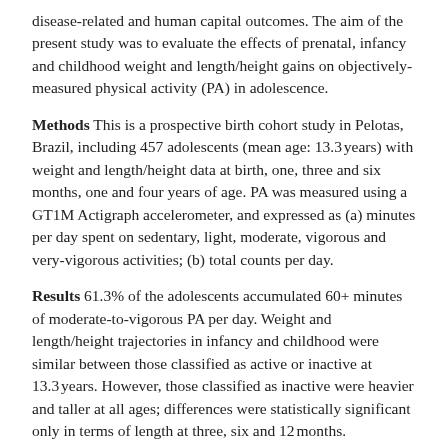disease-related and human capital outcomes. The aim of the present study was to evaluate the effects of prenatal, infancy and childhood weight and length/height gains on objectively-measured physical activity (PA) in adolescence.
Methods This is a prospective birth cohort study in Pelotas, Brazil, including 457 adolescents (mean age: 13.3 years) with weight and length/height data at birth, one, three and six months, one and four years of age. PA was measured using a GT1M Actigraph accelerometer, and expressed as (a) minutes per day spent on sedentary, light, moderate, vigorous and very-vigorous activities; (b) total counts per day.
Results 61.3% of the adolescents accumulated 60+ minutes of moderate-to-vigorous PA per day. Weight and length/height trajectories in infancy and childhood were similar between those classified as active or inactive at 13.3 years. However, those classified as inactive were heavier and taller at all ages; differences were statistically significant only in terms of length at three, six and 12 months.